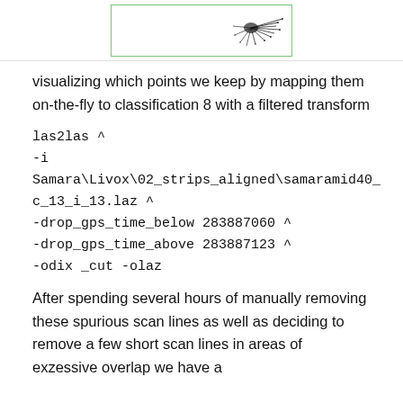[Figure (illustration): Partial view of a scan line visualization with a green-bordered box showing a sparse point cloud pattern (spiky radial points) in the upper portion of the page.]
visualizing which points we keep by mapping them on-the-fly to classification 8 with a filtered transform
After spending several hours of manually removing these spurious scan lines as well as deciding to remove a few short scan lines in areas of exzessive overlap we have a